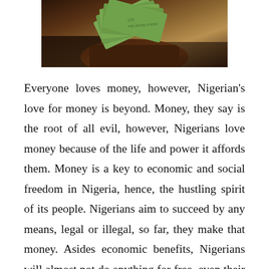[Figure (photo): A close-up photo of hands holding a fan of US dollar bills]
Everyone loves money, however, Nigerian's love for money is beyond. Money, they say is the root of all evil, however, Nigerians love money because of the life and power it affords them. Money is a key to economic and social freedom in Nigeria, hence, the hustling spirit of its people. Nigerians aim to succeed by any means, legal or illegal, so far, they make that money. Asides economic benefits, Nigerians will almost not do anything for free, even their duties, there must be something for boys. The love for money can be good and bad. The love for money has resulted in corruption, crime and more.